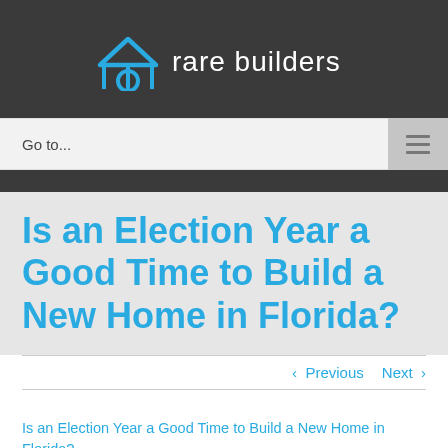[Figure (logo): Rare Builders logo with house icon and text 'rare builders' on dark background]
Go to...
Is an Election Year a Good Time to Build a New Home in Florida?
< Previous   Next >
Is an Election Year a Good Time to Build a New Home in Florida?